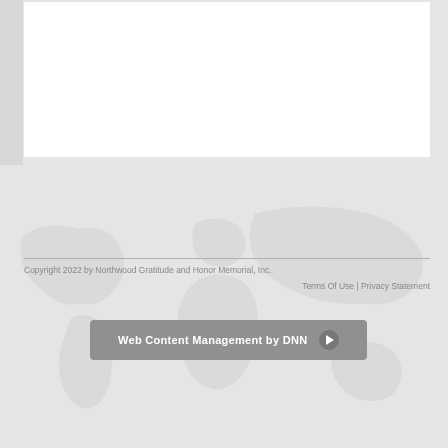[Figure (illustration): White content box area at the top of the page with a grey left vertical bar, representing a web page screenshot footer region]
Copyright 2022 by Northwood Gratitude and Honor Memorial, Inc.
Terms Of Use | Privacy Statement
Web Content Management by DNN